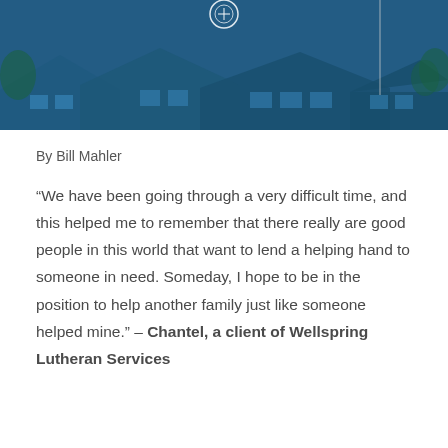[Figure (photo): Blue-tinted photograph of a building exterior with angular rooftops, windows, and trees visible in the background. A circular logo or emblem is partially visible at the top center.]
By Bill Mahler
“We have been going through a very difficult time, and this helped me to remember that there really are good people in this world that want to lend a helping hand to someone in need. Someday, I hope to be in the position to help another family just like someone helped mine.” – Chantel, a client of Wellspring Lutheran Services